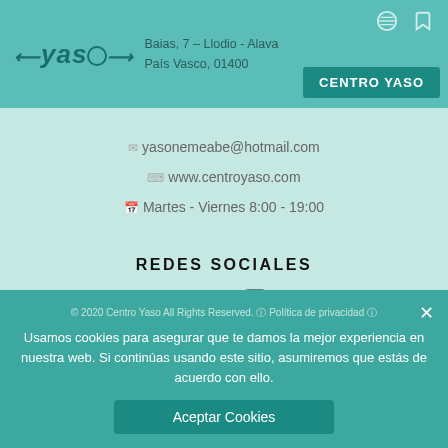Yaso | Baias, 7 – Llodio - Alava | País Vasco, 01400 | CENTRO YASO
yasonemeabe@hotmail.com
www.centroyaso.com
Martes - Viernes 8:00 - 19:00
REDES SOCIALES
[Figure (other): Facebook and Instagram social media icons]
Usamos cookies para asegurar que te damos la mejor experiencia en nuestra web. Si continúas usando este sitio, asumiremos que estás de acuerdo con ello.
© 2020 Centro Yaso All Rights Reserved. Política de privacidad
Aceptar Cookies